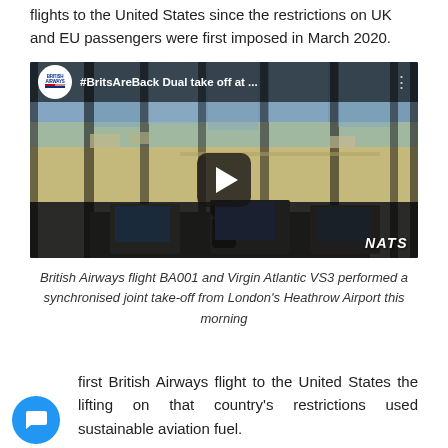flights to the United States since the restrictions on UK and EU passengers were first imposed in March 2020.
[Figure (screenshot): Embedded YouTube video thumbnail showing a British Airways #BritsAreBack Dual take off video, with an airport control tower view over Heathrow, NATS watermark, British Airways logo and play button.]
British Airways flight BA001 and Virgin Atlantic VS3 performed a synchronised joint take-off from London's Heathrow Airport this morning
first British Airways flight to the United States the lifting on that country's restrictions used sustainable aviation fuel.